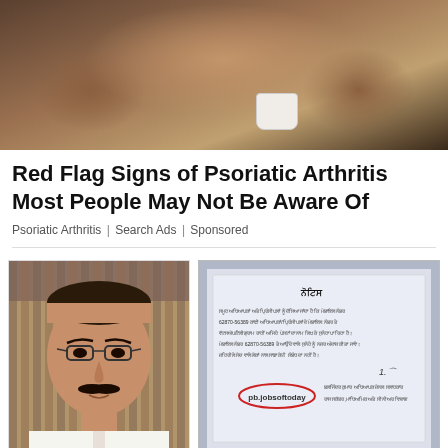[Figure (photo): Close-up photo of hands holding a small white cup, dark background with brown/tan tones]
Red Flag Signs of Psoriatic Arthritis Most People May Not Be Aware Of
Psoriatic Arthritis | Search Ads | Sponsored
[Figure (photo): Portrait photo of a middle-aged man with glasses and mustache wearing a white shirt]
[Figure (photo): Scanned document image in Punjabi script with a red oval stamp reading pb.jobsoftoday and a signature]